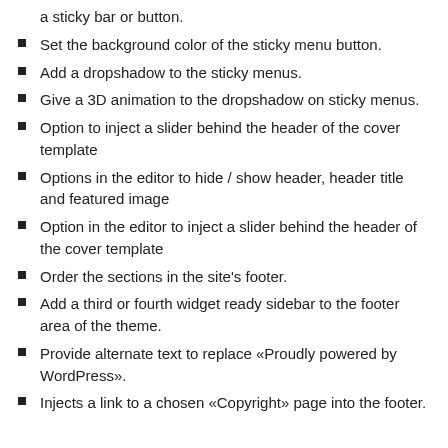a sticky bar or button.
Set the background color of the sticky menu button.
Add a dropshadow to the sticky menus.
Give a 3D animation to the dropshadow on sticky menus.
Option to inject a slider behind the header of the cover template
Options in the editor to hide / show header, header title and featured image
Option in the editor to inject a slider behind the header of the cover template
Order the sections in the site's footer.
Add a third or fourth widget ready sidebar to the footer area of the theme.
Provide alternate text to replace «Proudly powered by WordPress».
Injects a link to a chosen «Copyright» page into the footer.